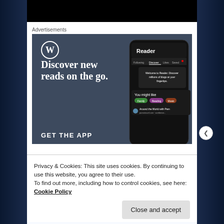Advertisements
[Figure (screenshot): WordPress advertisement banner showing 'Discover new reads on the go.' with WordPress logo, phone mockup showing Reader app interface, and 'GET THE APP' text at bottom. Dark blue-grey background.]
Privacy & Cookies: This site uses cookies. By continuing to use this website, you agree to their use.
To find out more, including how to control cookies, see here: Cookie Policy
Close and accept